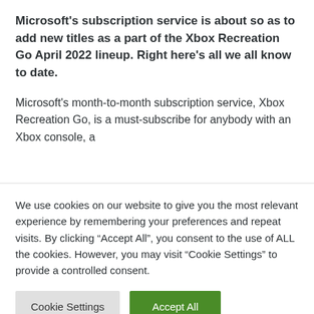Microsoft's subscription service is about so as to add new titles as a part of the Xbox Recreation Go April 2022 lineup. Right here's all we all know to date.
Microsoft's month-to-month subscription service, Xbox Recreation Go, is a must-subscribe for anybody with an Xbox console, a
We use cookies on our website to give you the most relevant experience by remembering your preferences and repeat visits. By clicking “Accept All”, you consent to the use of ALL the cookies. However, you may visit “Cookie Settings” to provide a controlled consent.